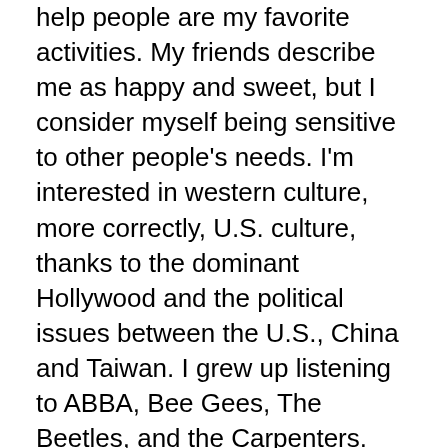help people are my favorite activities. My friends describe me as happy and sweet, but I consider myself being sensitive to other people's needs. I'm interested in western culture, more correctly, U.S. culture, thanks to the dominant Hollywood and the political issues between the U.S., China and Taiwan. I grew up listening to ABBA, Bee Gees, The Beetles, and the Carpenters. They are all my father's favorite bands from when he studied in the U.S. However, I barely know how to write any English word until I had my first English class in high school.
I don't care so much about fashion clothes, shoes, and make up. I like to dress myself in comfortable and plain ways, and I'm inclined to spend money on books or traveling. My favorite musician is Chopin. I can always feel him whenever I play his pieces. I